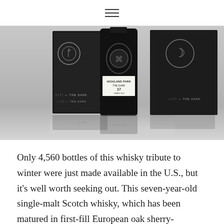≡
[Figure (photo): Highland Park The Dark 17 Year Old single malt Scotch whisky bottle with ornate Celtic-style pendant, displayed with dark gift box packaging. Text on box reads 'HIGHLAND PARK THE DARK' and 'ᚦᚨᚠᛏ — THE DARK'. Reflection visible below on white surface.]
Only 4,560 bottles of this whisky tribute to winter were just made available in the U.S., but it's well worth seeking out. This seven-year-old single-malt Scotch whisky, which has been matured in first-fill European oak sherry-seasoned casks, boosts flavors of dried fruits, cinnamon, toasted almonds